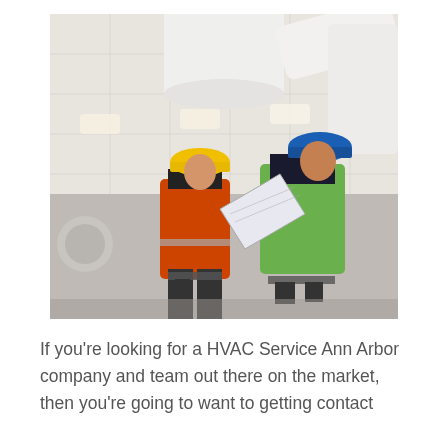[Figure (photo): Two construction workers in hard hats and safety vests looking up at white HVAC ductwork on the ceiling of a building interior. The worker on the left wears an orange vest and yellow hard hat; the worker on the right wears a green vest and blue hard hat and holds large blueprint plans.]
If you're looking for a HVAC Service Ann Arbor company and team out there on the market, then you're going to want to getting contact